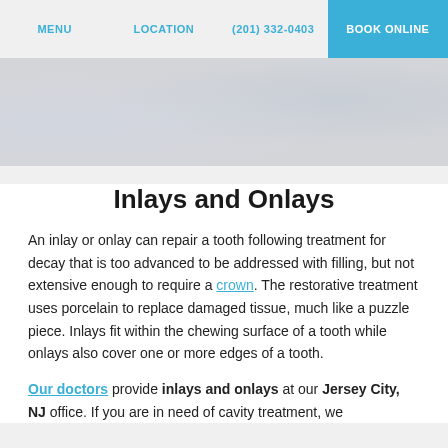MENU   LOCATION   (201) 332-0403   BOOK ONLINE
[Figure (photo): Faded background image of a dental or medical office setting]
Inlays and Onlays
An inlay or onlay can repair a tooth following treatment for decay that is too advanced to be addressed with filling, but not extensive enough to require a crown. The restorative treatment uses porcelain to replace damaged tissue, much like a puzzle piece. Inlays fit within the chewing surface of a tooth while onlays also cover one or more edges of a tooth.
Our doctors provide inlays and onlays at our Jersey City, NJ office. If you are in need of cavity treatment, we